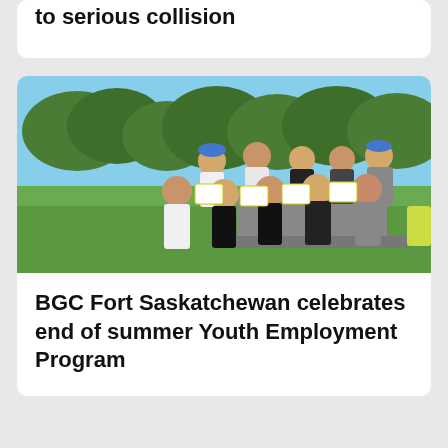to serious collision
[Figure (photo): Group photo of youth and staff outdoors holding certificates, seated and standing around a picnic table on a grassy area with trees in the background. Some participants are wearing blue hard hats.]
BGC Fort Saskatchewan celebrates end of summer Youth Employment Program